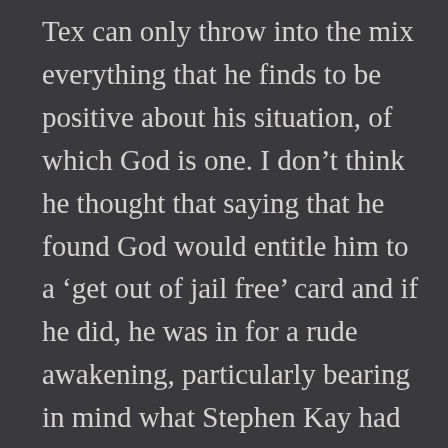Tex can only throw into the mix everything that he finds to be positive about his situation, of which God is one. I don’t think he thought that saying that he found God would entitle him to a ‘get out of jail free’ card and if he did, he was in for a rude awakening, particularly bearing in mind what Stephen Kay had said to him and about him in 1978. Right from the start, him saying that he’s found God has been greeted by the